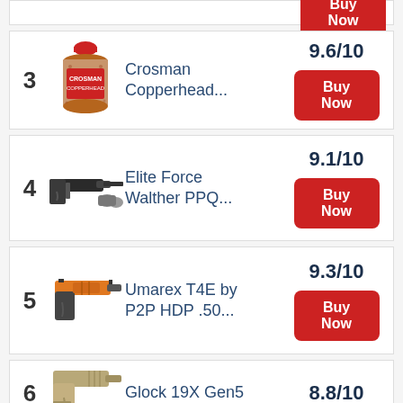3 Crosman Copperhead... 9.6/10 Buy Now
4 Elite Force Walther PPQ... 9.1/10 Buy Now
5 Umarex T4E by P2P HDP .50... 9.3/10 Buy Now
6 Glock 19X Gen5 8.8/10